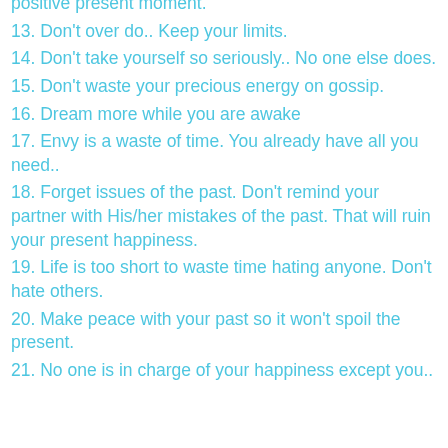positive present moment.
13. Don't over do.. Keep your limits.
14. Don't take yourself so seriously.. No one else does.
15. Don't waste your precious energy on gossip.
16. Dream more while you are awake
17. Envy is a waste of time. You already have all you need..
18. Forget issues of the past. Don't remind your partner with His/her mistakes of the past. That will ruin your present happiness.
19. Life is too short to waste time hating anyone. Don't hate others.
20. Make peace with your past so it won't spoil the present.
21. No one is in charge of your happiness except you..